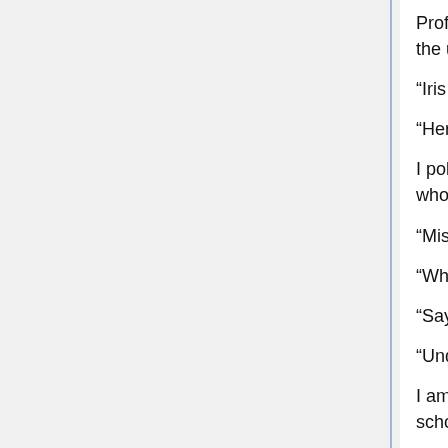Professor place her hands on the old wooden lectern that she brought from the university, saying: “Starting roll call.”
“Iris Rain Umbrella.”
“Here! Here, here, here!”
I poke out my body from the table, raising my hand energetically like a kid who just started school.”
“Miss Iris.”
“What is it!”
“Saying ‘here’ once would be enough.”
“Understood!”
I am extremely happy at this moment. It would be nice if robots could go to school one day.
Professor coughs for a moment, then started the lecture with a ‘Well, please